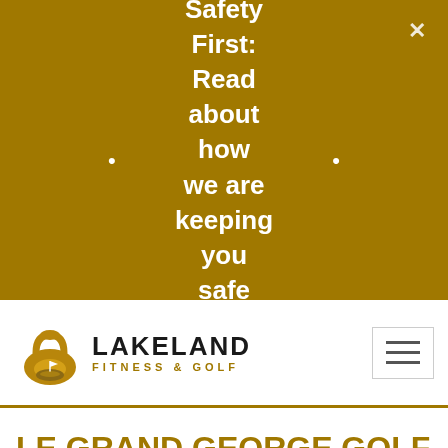[Figure (screenshot): Gold/dark-yellow banner with centered bold white text reading 'Safety First: Read about how we are keeping you safe', two white bullet points on left and right sides, and an X close button in top right corner]
[Figure (logo): Lakeland Fitness & Golf logo: kettlebell-shaped icon with golden golf scene, text LAKELAND in bold black, FITNESS & GOLF in gold tracking below]
[Figure (screenshot): Hamburger menu icon inside a light grey bordered square button]
LE GRAND GEORGE GOLF COURSE